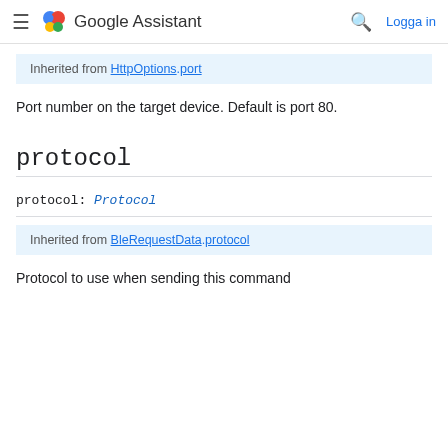Google Assistant — navigation bar with menu, logo, search, and Logga in
Inherited from HttpOptions.port
Port number on the target device. Default is port 80.
protocol
protocol: Protocol
Inherited from BleRequestData.protocol
Protocol to use when sending this command